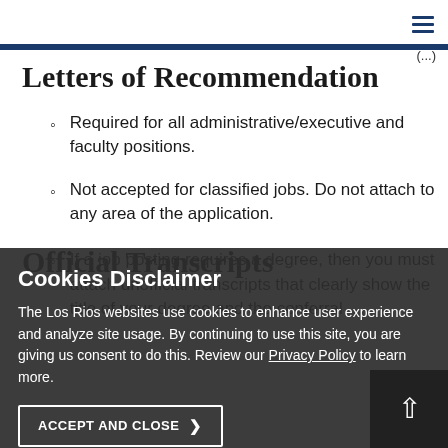Letters of Recommendation
Required for all administrative/executive and faculty positions.
Not accepted for classified jobs. Do not attach to any area of the application.
Official Transcripts
If a job posting requires a degree, then you must attach unofficial transcripts that clearly show the title of your degree and the conferral
Cookies Disclaimer
The Los Rios websites use cookies to enhance user experience and analyze site usage. By continuing to use this site, you are giving us consent to do this. Review our Privacy Policy to learn more.